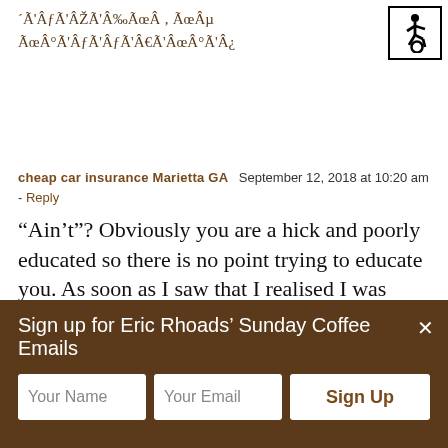´Ã'ÂƒÃ'ÂŽÃ'Â‰ÃœÂ ‚ ÃœÂµ ÃœÂ°Ã'ÂƒÃ'Â€Ã'ÂœÂ°Ã'Â¿
[Figure (other): Wheelchair accessibility icon in a bordered box]
cheap car insurance Marietta GA   September 12, 2018 at 10:20 am - Reply
“Ain’t”? Obviously you are a hick and poorly educated so there is no point trying to educate you. As soon as I saw that I realised I was wasting my breath. I won’t dignify your other ill informed comments. I’ve said my piece and thankfully your views are in the minority.
Sign up for Eric Rhoads’ Sunday Coffee Emails
Your Name
Your Email
Sign Up